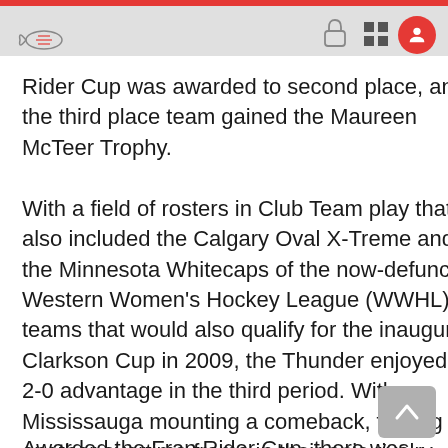Rider Cup was awarded to second place, and the third place team gained the Maureen McTeer Trophy.
With a field of rosters in Club Team play that also included the Calgary Oval X-Treme and the Minnesota Whitecaps of the now-defunct Western Women's Hockey League (WWHL), teams that would also qualify for the inaugural Clarkson Cup in 2009, the Thunder enjoyed a 2-0 advantage in the third period. With Mississauga mounting a comeback, forcing another overtime frame in their epic rivalry, the momentum remained in their favor, as Cherie Piper scored the overtime-clinching goal, claiming the Abby Hoffman Cup.
Awarded the Fran Rider Cup, there was a